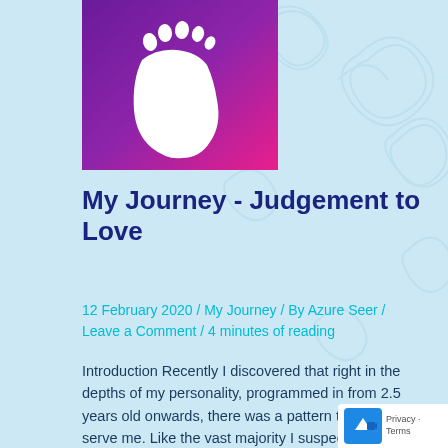[Figure (illustration): A white footprint icon on a purple-to-magenta gradient background square image]
My Journey - Judgement to Love
12 February 2020 / My Journey / By Azure Seer / Leave a Comment / 4 minutes of reading
Introduction Recently I discovered that right in the depths of my personality, programmed in from 2.5 years old onwards, there was a pattern that does not serve me. Like the vast majority I suspect, I have been making nearly every decision based on judgement. Despite all of my awakened